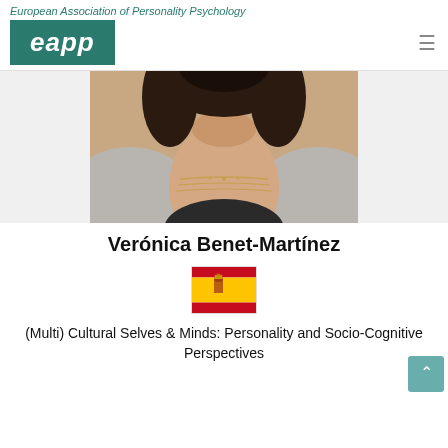European Association of Personality Psychology
[Figure (logo): EAPP logo — green rectangle with white italic bold text 'eapp']
[Figure (photo): Portrait photo of Verónica Benet-Martínez, cropped showing neck and shoulders, dark hair, gray jacket, gold chain necklace]
Verónica Benet-Martínez
[Figure (illustration): Spanish flag emoji]
(Multi) Cultural Selves & Minds: Personality and Socio-Cognitive Perspectives